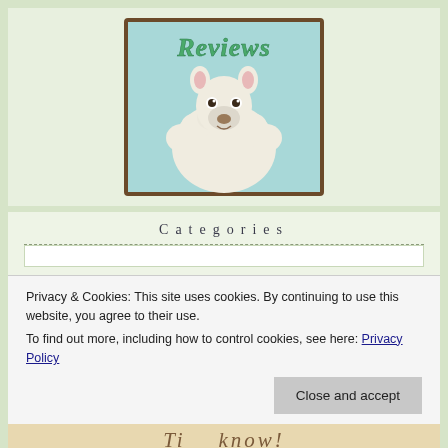[Figure (illustration): Cute cartoon llama illustration with the word 'Reviews' in green cursive text at the top, inside a brown-bordered frame on a light blue background. The llama is white and fluffy facing forward.]
Categories
Privacy & Cookies: This site uses cookies. By continuing to use this website, you agree to their use.
To find out more, including how to control cookies, see here: Privacy Policy
[Figure (illustration): Partial view of bottom image showing cursive text on a tan/beige background, partially visible.]